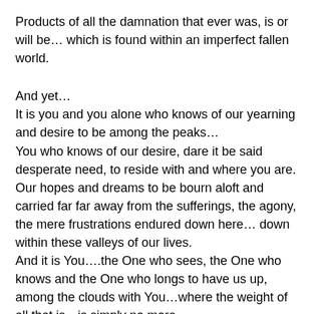Products of all the damnation that ever was, is or will be… which is found within an imperfect fallen world.
And yet…
It is you and you alone who knows of our yearning and desire to be among the peaks…
You who knows of our desire, dare it be said desperate need, to reside with and where you are. Our hopes and dreams to be bourn aloft and carried far far away from the sufferings, the agony, the mere frustrations endured down here… down within these valleys of our lives.
And it is You….the One who sees, the One who knows and the One who longs to have us up, among the clouds with You…where the weight of all that is…is simply no more…
And so He comes…